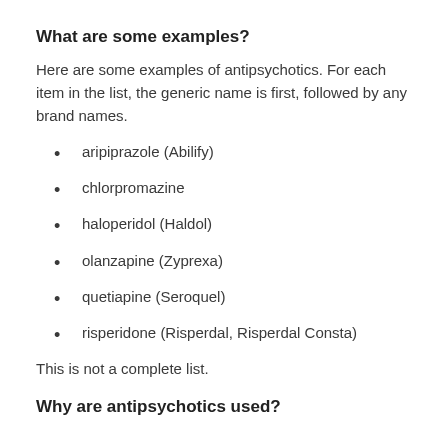What are some examples?
Here are some examples of antipsychotics. For each item in the list, the generic name is first, followed by any brand names.
aripiprazole (Abilify)
chlorpromazine
haloperidol (Haldol)
olanzapine (Zyprexa)
quetiapine (Seroquel)
risperidone (Risperdal, Risperdal Consta)
This is not a complete list.
Why are antipsychotics used?